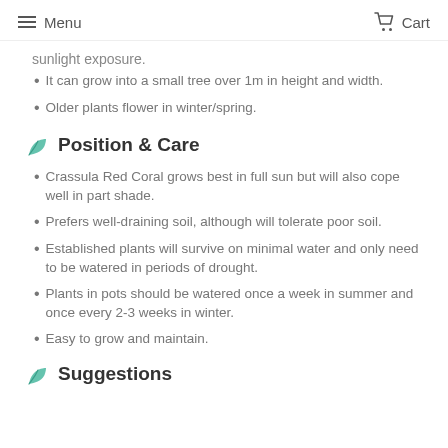Menu   Cart
sunlight exposure.
It can grow into a small tree over 1m in height and width.
Older plants flower in winter/spring.
Position & Care
Crassula Red Coral grows best in full sun but will also cope well in part shade.
Prefers well-draining soil, although will tolerate poor soil.
Established plants will survive on minimal water and only need to be watered in periods of drought.
Plants in pots should be watered once a week in summer and once every 2-3 weeks in winter.
Easy to grow and maintain.
Suggestions